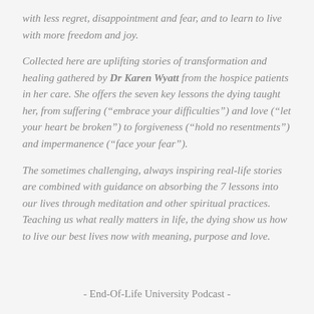with less regret, disappointment and fear, and to learn to live with more freedom and joy.
Collected here are uplifting stories of transformation and healing gathered by Dr Karen Wyatt from the hospice patients in her care. She offers the seven key lessons the dying taught her, from suffering (“embrace your difficulties”) and love (“let your heart be broken”) to forgiveness (“hold no resentments”) and impermanence (“face your fear”).
The sometimes challenging, always inspiring real-life stories are combined with guidance on absorbing the 7 lessons into our lives through meditation and other spiritual practices. Teaching us what really matters in life, the dying show us how to live our best lives now with meaning, purpose and love.
- End-Of-Life University Podcast -